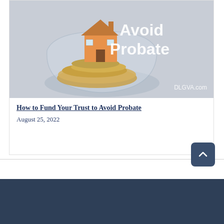[Figure (photo): Photo of a glass bowl containing a miniature house model and gold coins, with text overlay 'Avoid Probate' in white and 'DLGVA.com' watermark in lower right corner. Background is light gray.]
How to Fund Your Trust to Avoid Probate
August 25, 2022